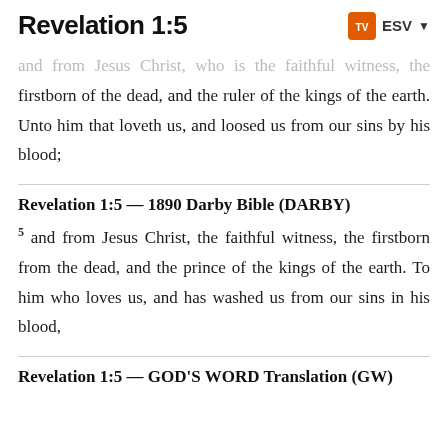Revelation 1:5
and from Jesus Christ, who is the faithful witness, the firstborn of the dead, and the ruler of the kings of the earth. Unto him that loveth us, and loosed us from our sins by his blood;
Revelation 1:5 — 1890 Darby Bible (DARBY)
5 and from Jesus Christ, the faithful witness, the firstborn from the dead, and the prince of the kings of the earth. To him who loves us, and has washed us from our sins in his blood,
Revelation 1:5 — GOD'S WORD Translation (GW)